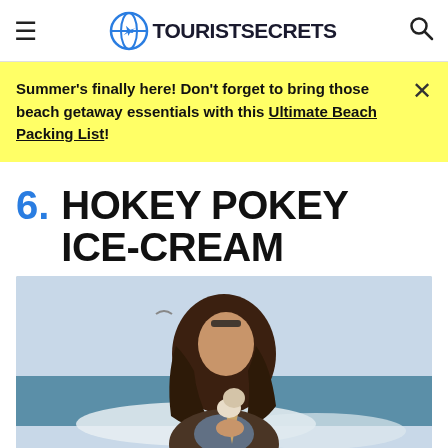TOURIST SECRETS
Summer's finally here! Don't forget to bring those beach getaway essentials with this Ultimate Beach Packing List!
6. HOKEY POKEY ICE-CREAM
[Figure (photo): A young woman holding an ice cream cone at the beach, with waves and a seagull in the background.]